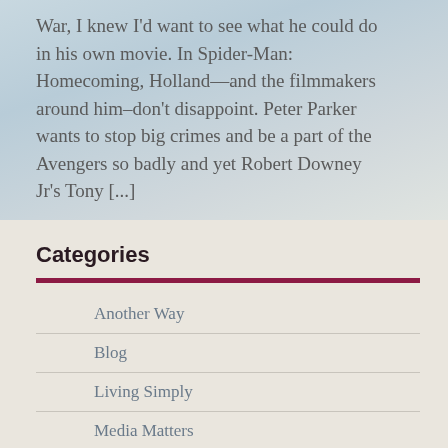War, I knew I'd want to see what he could do in his own movie. In Spider-Man: Homecoming, Holland—and the filmmakers around him–don't disappoint. Peter Parker wants to stop big crimes and be a part of the Avengers so badly and yet Robert Downey Jr's Tony [...]
Categories
Another Way
Blog
Living Simply
Media Matters
Stories of Peace